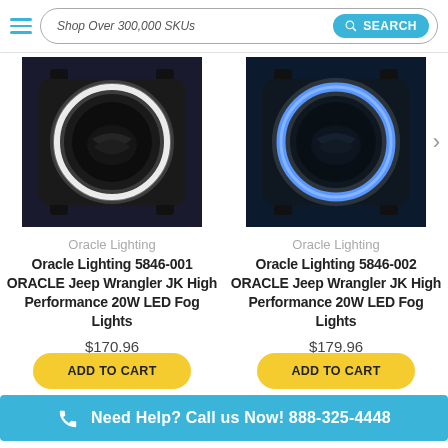Shop Over 300,000 SKUs  SEARCH
[Figure (photo): Oracle fog light with white halo ring LED, black housing, front view]
[Figure (photo): Oracle fog light with blue halo ring LED, black housing, front view]
Oracle Lighting
Oracle Lighting 5846-001 ORACLE Jeep Wrangler JK High Performance 20W LED Fog Lights
$170.96
Oracle Lighting
Oracle Lighting 5846-002 ORACLE Jeep Wrangler JK High Performance 20W LED Fog Lights
$179.96
Need Help? Call us Now! 888-325-4448